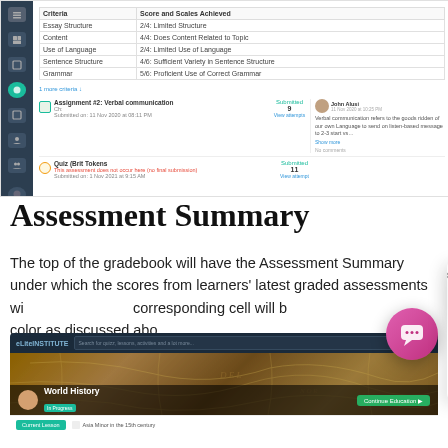[Figure (screenshot): Screenshot of a learning management system gradebook showing a rubric table with criteria and scores, and assignment rows including 'Assignment #2: Verbal communication' and 'Quiz (Brit Tokens)', with a sidebar navigation, green and red progress bars, and a comment panel on the right.]
Assessment Summary
The top of the gradebook will have the Assessment Summary under which the scores from learners' latest graded assessments will be shown. The corresponding cell will be highlighted with a color as discussed above.
[Figure (screenshot): Screenshot of an online learning platform showing a 'World History' course page with a vintage map background, course status 'In Progress', a 'Continue' button, navigation bar with search, a '+' button, and a 'Current Lesson' bar at the bottom showing 'Asia Minor in the 15th century'.]
[Figure (other): Chat popup overlay with a penguin mascot icon saying 'Got any questions? I'm happy to help.' with a close (×) button, and a pink circular chat bubble icon in the bottom right.]